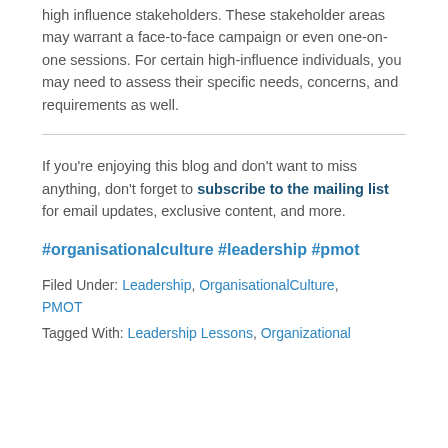high influence stakeholders. These stakeholder areas may warrant a face-to-face campaign or even one-on-one sessions. For certain high-influence individuals, you may need to assess their specific needs, concerns, and requirements as well.
If you're enjoying this blog and don't want to miss anything, don't forget to subscribe to the mailing list for email updates, exclusive content, and more.
#organisationalculture #leadership #pmot
Filed Under: Leadership, OrganisationalCulture, PMOT
Tagged With: Leadership Lessons, Organizational